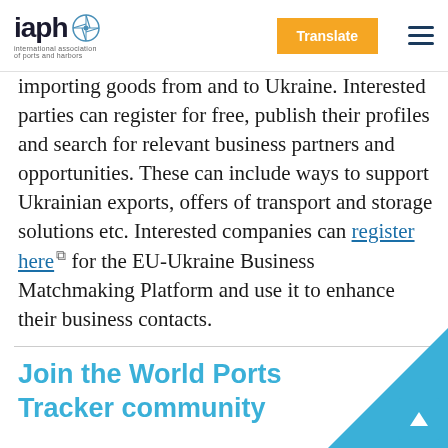iaph [logo with compass icon] | Translate | [hamburger menu]
importing goods from and to Ukraine. Interested parties can register for free, publish their profiles and search for relevant business partners and opportunities. These can include ways to support Ukrainian exports, offers of transport and storage solutions etc. Interested companies can register here ↗ for the EU-Ukraine Business Matchmaking Platform and use it to enhance their business contacts.
Join the World Ports Tracker community